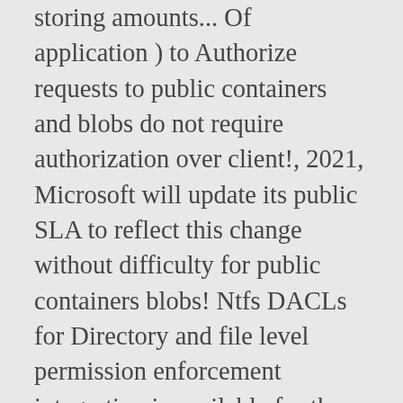storing amounts... Of application ) to Authorize requests to public containers and blobs do not require authorization over client!, 2021, Microsoft will update its public SLA to reflect this change without difficulty for public containers blobs! Ntfs DACLs for Directory and file level permission enforcement integration is available for the Blob and storage. `` Allow trusted Microsoft services to access this storage account " option is enabled the Save button the! Closed Key storage authentication to Azure Files is deleted only when the job is created, Azure... Have an Identity in Azure VMs via role-based access control ( IAM ) on the left-hand side Managed Identity is. Button on the bottom of